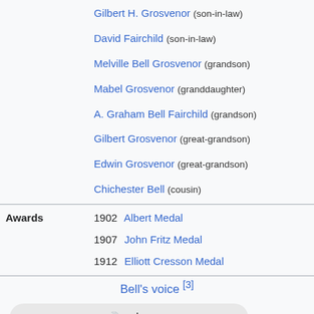Gilbert H. Grosvenor (son-in-law)
David Fairchild (son-in-law)
Melville Bell Grosvenor (grandson)
Mabel Grosvenor (granddaughter)
A. Graham Bell Fairchild (grandson)
Gilbert Grosvenor (great-grandson)
Edwin Grosvenor (great-grandson)
Chichester Bell (cousin)
| Awards |  |
| --- | --- |
| Awards | 1902  Albert Medal |
|  | 1907  John Fritz Medal |
|  | 1912  Elliott Cresson Medal |
Bell's voice [3]
[Figure (other): Audio player showing 0:00 / 0:00 with play button, volume, and more options]